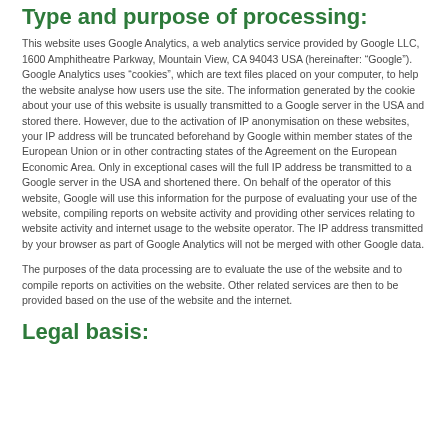Type and purpose of processing:
This website uses Google Analytics, a web analytics service provided by Google LLC, 1600 Amphitheatre Parkway, Mountain View, CA 94043 USA (hereinafter: “Google”). Google Analytics uses “cookies”, which are text files placed on your computer, to help the website analyse how users use the site. The information generated by the cookie about your use of this website is usually transmitted to a Google server in the USA and stored there. However, due to the activation of IP anonymisation on these websites, your IP address will be truncated beforehand by Google within member states of the European Union or in other contracting states of the Agreement on the European Economic Area. Only in exceptional cases will the full IP address be transmitted to a Google server in the USA and shortened there. On behalf of the operator of this website, Google will use this information for the purpose of evaluating your use of the website, compiling reports on website activity and providing other services relating to website activity and internet usage to the website operator. The IP address transmitted by your browser as part of Google Analytics will not be merged with other Google data.
The purposes of the data processing are to evaluate the use of the website and to compile reports on activities on the website. Other related services are then to be provided based on the use of the website and the internet.
Legal basis: